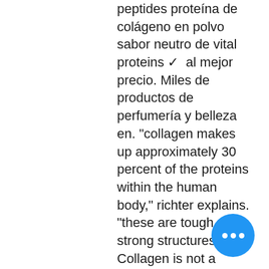peptides proteína de colágeno en polvo sabor neutro de vital proteins ✓  al mejor precio. Miles de productos de perfumería y belleza en. &quot;collagen makes up approximately 30 percent of the proteins within the human body,&quot; richter explains. &quot;these are tough and strong structures. Collagen is not a complete protein because collagen contains 19 amino acids, including 8 essential amino acids (missing the essential amino acid, tryptophan). Shop primal kitchen's keto and paleo collagen peptides powders, collagen supplements with vitamin c, and collagen keto latte drink mixes. Collagen, however, is a unique type of protein. It is not complete, meaning, it does not have all 9 essential amino acids that a complete protein requires. The baum group - research - collagen-protein interactions. R collageniii prote colored. Collagens are extremely impo extracellular matrix (ecm)
[Figure (other): Blue circular chat bubble button with three white dots]